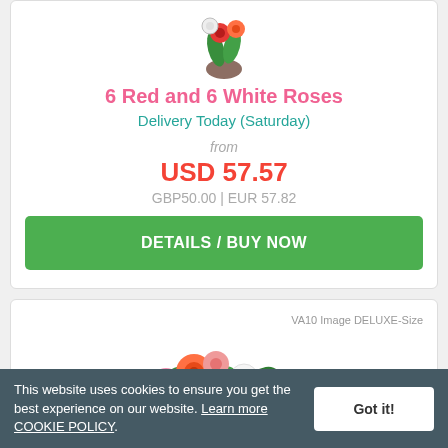[Figure (photo): Partial top view of a flower bouquet with red and colored blooms in a vase, cropped at top]
6 Red and 6 White Roses
Delivery Today (Saturday)
from
USD 57.57
GBP50.00 | EUR 57.82
DETAILS / BUY NOW
VA10 Image DELUXE-Size
[Figure (photo): Colorful flower bouquet with orange, pink, white and yellow roses, cropped at bottom]
This website uses cookies to ensure you get the best experience on our website. Learn more COOKIE POLICY.
Got it!